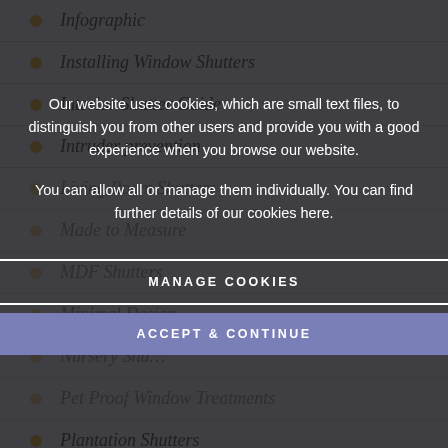Infographic
Installing Window Shutters
Interior Shutter Guide
Intruder prevention
Living Room Shutters
Made to Measure
MDF Shutters
Minimal Design
Nursery Shutters
Pet Proof Window Treatments
Plantation Shutters
Porthole Windows
Pure Wood Blinds
Our website uses cookies, which are small text files, to distinguish you from other users and provide you with a good experience when you browse our website.

You can allow all or manage them individually. You can find further details of our cookies here.
MANAGE COOKIES
ACCEPT & CONTINUE